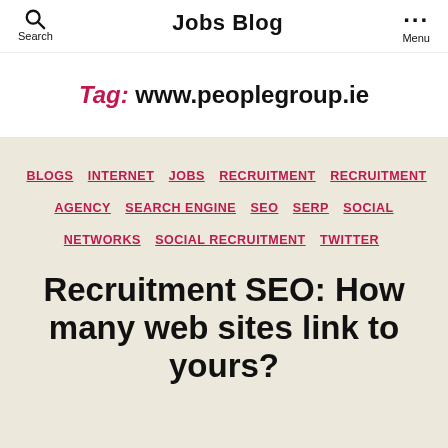Search | Jobs Blog | Menu
Tag: www.peoplegroup.ie
BLOGS  INTERNET  JOBS  RECRUITMENT  RECRUITMENT AGENCY  SEARCH ENGINE  SEO  SERP  SOCIAL NETWORKS  SOCIAL RECRUITMENT  TWITTER
Recruitment SEO: How many web sites link to yours?